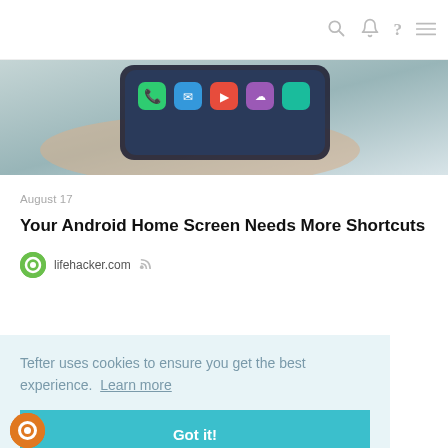🔍 🔔 ? ☰
[Figure (photo): Hand holding a smartphone with colorful app icons visible on screen]
August 17
Your Android Home Screen Needs More Shortcuts
lifehacker.com
Tefter uses cookies to ensure you get the best experience. Learn more
Got it!